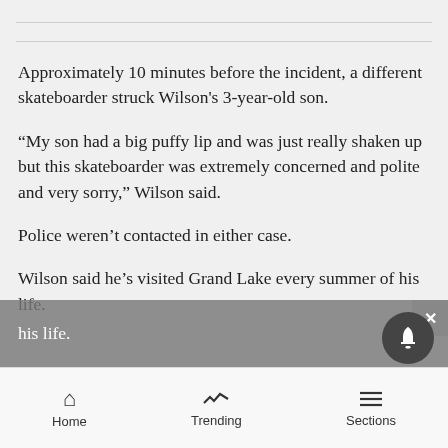Approximately 10 minutes before the incident, a different skateboarder struck Wilson's 3-year-old son.
“My son had a big puffy lip and was just really shaken up but this skateboarder was extremely concerned and polite and very sorry,” Wilson said.
Police weren’t contacted in either case.
Wilson said he’s visited Grand Lake every summer of his life.
Home   Trending   Sections